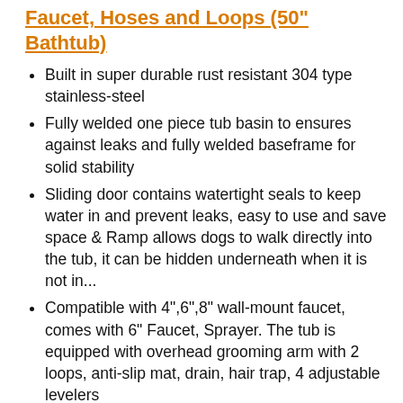Faucet, Hoses and Loops (50" Bathtub)
Built in super durable rust resistant 304 type stainless-steel
Fully welded one piece tub basin to ensures against leaks and fully welded baseframe for solid stability
Sliding door contains watertight seals to keep water in and prevent leaks, easy to use and save space & Ramp allows dogs to walk directly into the tub, it can be hidden underneath when it is not in...
Compatible with 4",6",8" wall-mount faucet, comes with 6" Faucet, Sprayer. The tub is equipped with overhead grooming arm with 2 loops, anti-slip mat, drain, hair trap, 4 adjustable levelers
The bathtub is shipped by LTL Freight. The trucking company will contact you in